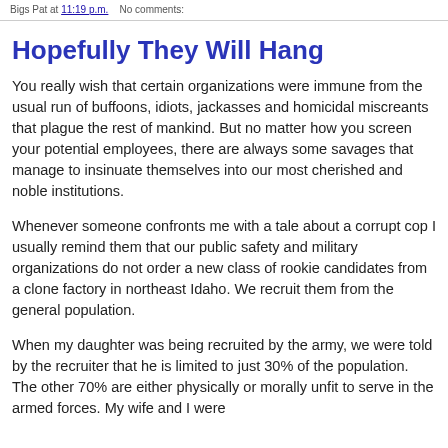Bigs Pat at 11:19 p.m.   No comments:
Hopefully They Will Hang
You really wish that certain organizations were immune from the usual run of buffoons, idiots, jackasses and homicidal miscreants that plague the rest of mankind. But no matter how you screen your potential employees, there are always some savages that manage to insinuate themselves into our most cherished and noble institutions.
Whenever someone confronts me with a tale about a corrupt cop I usually remind them that our public safety and military organizations do not order a new class of rookie candidates from a clone factory in northeast Idaho. We recruit them from the general population.
When my daughter was being recruited by the army, we were told by the recruiter that he is limited to just 30% of the population. The other 70% are either physically or morally unfit to serve in the armed forces. My wife and I were